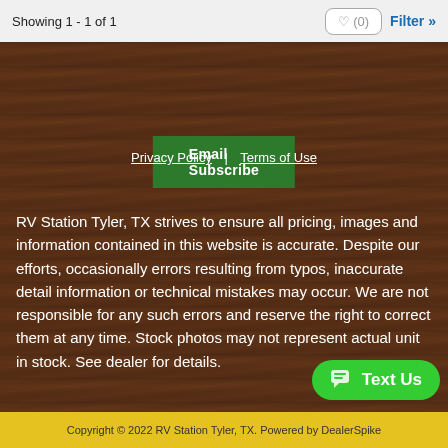Showing 1 - 1 of 1
Email Subscribe
Privacy Policy | Terms of Use
RV Station Tyler, TX strives to ensure all pricing, images and information contained in this website is accurate. Despite our efforts, occasionally errors resulting from typos, inaccurate detail information or technical mistakes may occur. We are not responsible for any such errors and reserve the right to correct them at any time. Stock photos may not represent actual unit in stock. See dealer for details.
Copyright © 2022 RV Station Tyler, TX. Powered by DealerSpike